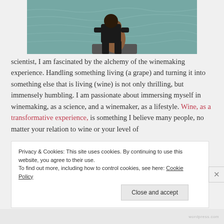[Figure (photo): Person sitting by water with a large jug/vessel, viewed from behind, water with ripples in background]
scientist, I am fascinated by the alchemy of the winemaking experience. Handling something living (a grape) and turning it into something else that is living (wine) is not only thrilling, but immensely humbling. I am passionate about immersing myself in winemaking, as a science, and a winemaker, as a lifestyle. Wine, as a transformative experience, is something I believe many people, no matter your relation to wine or your level of
Privacy & Cookies: This site uses cookies. By continuing to use this website, you agree to their use.
To find out more, including how to control cookies, see here: Cookie Policy
Close and accept